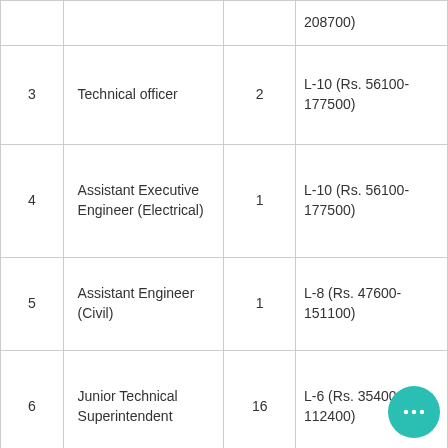| Sr. No. | Post | No. of Posts | Pay Level |
| --- | --- | --- | --- |
|  |  |  | 208700) |
| 3 | Technical officer | 2 | L-10 (Rs. 56100-177500) |
| 4 | Assistant Executive Engineer (Electrical) | 1 | L-10 (Rs. 56100-177500) |
| 5 | Assistant Engineer (Civil) | 1 | L-8 (Rs. 47600-151100) |
| 6 | Junior Technical Superintendent | 16 | L-6 (Rs. 35400-112400) |
| 7 | Junior Engineer | 1 | 35400 |